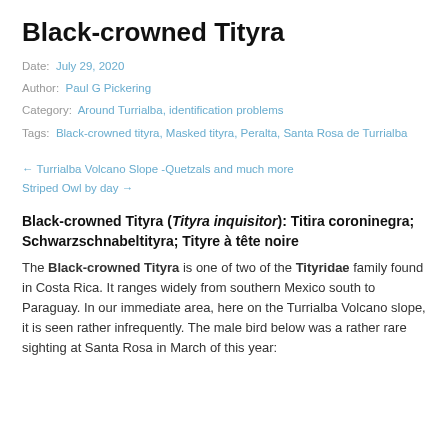Black-crowned Tityra
Date: July 29, 2020
Author: Paul G Pickering
Category: Around Turrialba, identification problems
Tags: Black-crowned tityra, Masked tityra, Peralta, Santa Rosa de Turrialba
← Turrialba Volcano Slope -Quetzals and much more
Striped Owl by day →
Black-crowned Tityra (Tityra inquisitor): Titira coroninegra; Schwarzschnabeltityra; Tityre à tête noire
The Black-crowned Tityra is one of two of the Tityridae family found in Costa Rica. It ranges widely from southern Mexico south to Paraguay. In our immediate area, here on the Turrialba Volcano slope, it is seen rather infrequently. The male bird below was a rather rare sighting at Santa Rosa in March of this year: